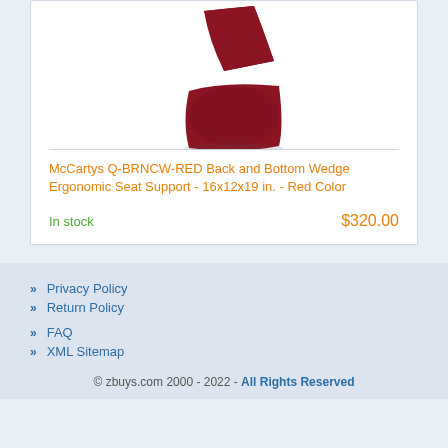[Figure (photo): Red ergonomic seat cushion with back support, wedge shape, shown from an angle against white background]
McCartys Q-BRNCW-RED Back and Bottom Wedge Ergonomic Seat Support - 16x12x19 in. - Red Color
In stock
$320.00
» Privacy Policy
» Return Policy
» FAQ
» XML Sitemap
© zbuys.com 2000 - 2022 - All Rights Reserved